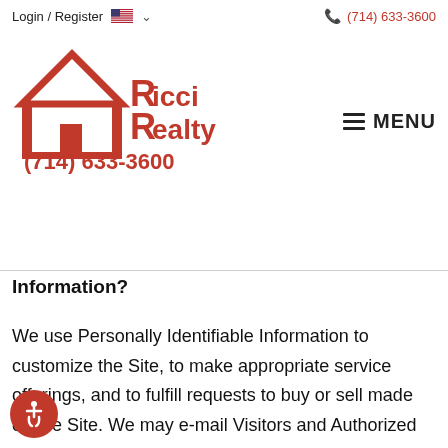Login / Register  (714) 633-3600  Ricci Realty (714) 633-3600  MENU
Information?
We use Personally Identifiable Information to customize the Site, to make appropriate service offerings, and to fulfill requests to buy or sell made on the Site. We may e-mail Visitors and Authorized Customers about research or opportunities to purchase and sell on the Site or information related to the subject matter of the Site. We may also use Personally Identifiable Information to contact Visitors and Authorized Customers in response to specific